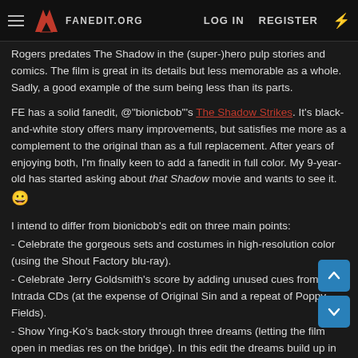FANEDIT.ORG — LOG IN  REGISTER
Rogers predates The Shadow in the (super-)hero pulp stories and comics. The film is great in its details but less memorable as a whole. Sadly, a good example of the sum being less than its parts.
FE has a solid fanedit, @"bionicbob"'s The Shadow Strikes. It's black-and-white story offers many improvements, but satisfies me more as a complement to the original than as a full replacement. After years of enjoying both, I'm finally keen to add a fanedit in full color. My 9-year-old has started asking about that Shadow movie and wants to see it. 😃
I intend to differ from bionicbob's edit on three main points:
- Celebrate the gorgeous sets and costumes in high-resolution color (using the Shout Factory blu-ray).
- Celebrate Jerry Goldsmith's score by adding unused cues from the Intrada CDs (at the expense of Original Sin and a repeat of Poppy Fields).
- Show Ying-Ko's back-story through three dreams (letting the film open in medias res on the bridge). In this edit the dreams build up in awfulness, recurring and escalating reminders of The Shadow's ruthless past.
Not in-the-works yet, I first want to complete my Buck Rogers set and mostly-finished James Bonds. :shy: